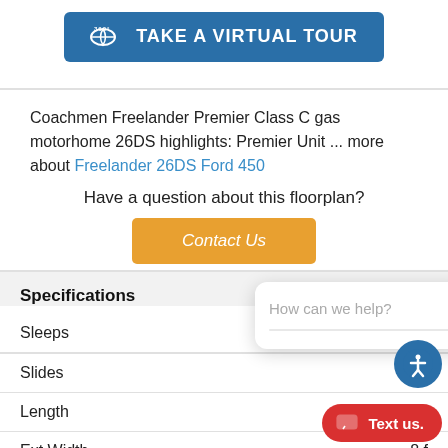[Figure (other): Blue button with 360° icon reading TAKE A VIRTUAL TOUR]
Coachmen Freelander Premier Class C gas motorhome 26DS highlights: Premier Unit ... more about Freelander 26DS Ford 450
Have a question about this floorplan?
[Figure (other): Orange Contact Us button]
Specifications
| Spec | Value |
| --- | --- |
| Sleeps |  |
| Slides |  |
| Length | 27 ft 5 in |
| Ext Width | 8 f |
| Ext Height | 10 ft 11 in |
[Figure (screenshot): Chat popup overlay with close button (X) and placeholder text: How can we help?]
[Figure (other): Blue accessibility icon button (person with circle)]
[Figure (other): Red Text us pill button]